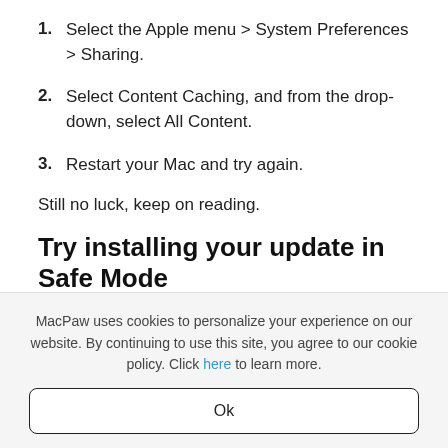1. Select the Apple menu > System Preferences > Sharing.
2. Select Content Caching, and from the drop-down, select All Content.
3. Restart your Mac and try again.
Still no luck, keep on reading.
Try installing your update in Safe Mode
MacPaw uses cookies to personalize your experience on our website. By continuing to use this site, you agree to our cookie policy. Click here to learn more.
Ok